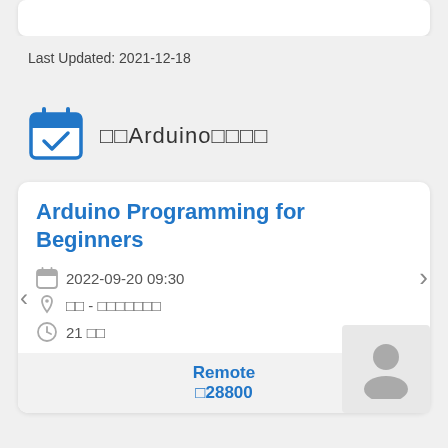Last Updated: 2021-12-18
□□Arduino□□□□
Arduino Programming for Beginners
2022-09-20 09:30
□□ - □□□□□□□
21 □□
Remote
□28800